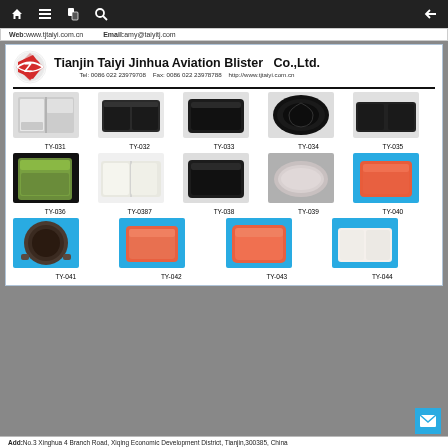Web: www.tjtaiyi.com.cn   Email: amy@taiyitj.com
Tianjin Taiyi Jinhua Aviation Blister  Co.,Ltd.
Tel: 0086 022 23979708   Fax: 0086 022 23978788   http://www.tjtaiyi.com.cn
[Figure (photo): Product TY-031: white plastic food tray with dividers]
[Figure (photo): Product TY-032: black plastic food tray with dividers]
[Figure (photo): Product TY-033: dark plastic rectangular tray]
[Figure (photo): Product TY-034: black oval embossed tray]
[Figure (photo): Product TY-035: dark plastic two-compartment tray]
[Figure (photo): Product TY-036: green/black lidded food container]
[Figure (photo): Product TY-0387: white plastic two-section tray]
[Figure (photo): Product TY-038: black square plastic tray]
[Figure (photo): Product TY-039: gray oval plastic tray]
[Figure (photo): Product TY-040: orange/red plastic tray on blue background]
[Figure (photo): Product TY-041: dark round tray on blue background]
[Figure (photo): Product TY-042: orange plastic square tray on blue background]
[Figure (photo): Product TY-043: orange plastic square tray on blue background]
[Figure (photo): Product TY-044: white plastic two-compartment tray on blue background]
Add: No.3 Xinghua 4 Branch Road, Xiqing Economic Development District, Tianjin, 300385, China